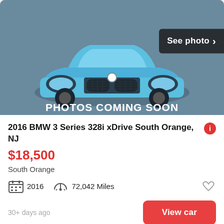[Figure (photo): Car listing placeholder image showing a light blue BMW 3 Series front view on a gray-blue background with 'PHOTOS COMING SOON' text and a 'See photo >' button overlay]
2016 BMW 3 Series 328i xDrive South Orange, NJ
$18,500
South Orange
2016   72,042 Miles
30+ days ago
View car
[Figure (photo): Partial view of a BMW dealership exterior with the BMW logo visible on the building, photographed against a cloudy sky]